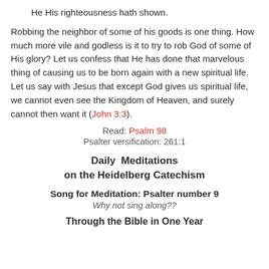He His righteousness hath shown.
Robbing the neighbor of some of his goods is one thing. How much more vile and godless is it to try to rob God of some of His glory? Let us confess that He has done that marvelous thing of causing us to be born again with a new spiritual life. Let us say with Jesus that except God gives us spiritual life, we cannot even see the Kingdom of Heaven, and surely cannot then want it (John 3:3).
Read: Psalm 98
Psalter versification: 261:1
Daily Meditations on the Heidelberg Catechism
Song for Meditation: Psalter number 9
Why not sing along??
Through the Bible in One Year